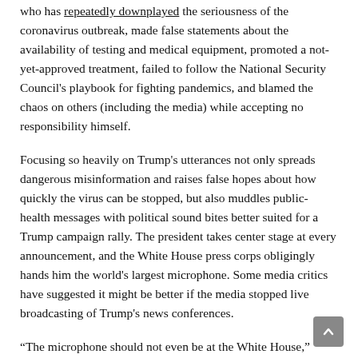who has repeatedly downplayed the seriousness of the coronavirus outbreak, made false statements about the availability of testing and medical equipment, promoted a not-yet-approved treatment, failed to follow the National Security Council's playbook for fighting pandemics, and blamed the chaos on others (including the media) while accepting no responsibility himself.
Focusing so heavily on Trump's utterances not only spreads dangerous misinformation and raises false hopes about how quickly the virus can be stopped, but also muddles public-health messages with political sound bites better suited for a Trump campaign rally. The president takes center stage at every announcement, and the White House press corps obligingly hands him the world's largest microphone. Some media critics have suggested it might be better if the media stopped live broadcasting of Trump's news conferences.
“The microphone should not even be at the White House,”